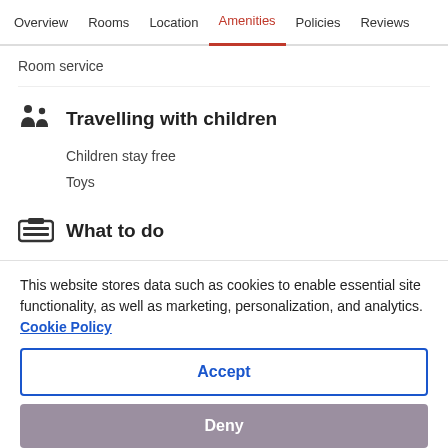Overview  Rooms  Location  Amenities  Policies  Reviews
Room service
Travelling with children
Children stay free
Toys
What to do
Bike rentals nearby
Mountain climbing nearby
This website stores data such as cookies to enable essential site functionality, as well as marketing, personalization, and analytics. Cookie Policy
Accept
Deny